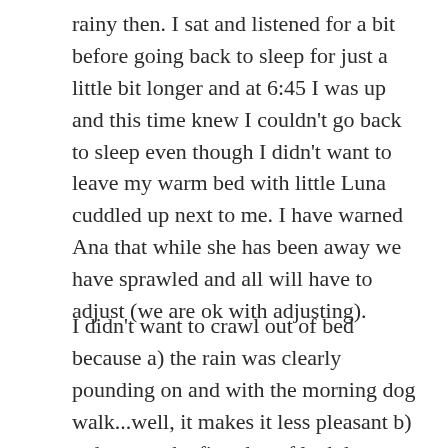rainy then. I sat and listened for a bit before going back to sleep for just a little bit longer and at 6:45 I was up and this time knew I couldn't go back to sleep even though I didn't want to leave my warm bed with little Luna cuddled up next to me. I have warned Ana that while she has been away we have sprawled and all will have to adjust (we are ok with adjusting).
I didn't want to crawl out of bed because a) the rain was clearly pounding on and with the morning dog walk...well, it makes it less pleasant b) today was the first day of lockdown lite and people have been really upset about this c) I have absolutely nothing on my